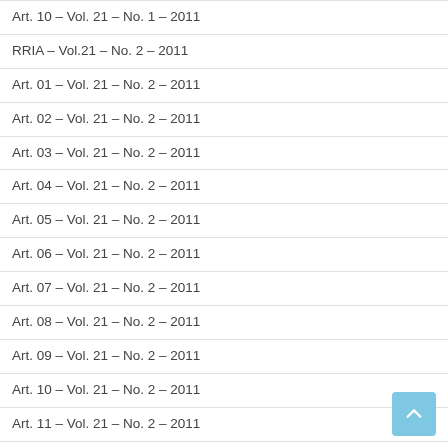Art. 10 – Vol. 21 – No. 1 – 2011
RRIA – Vol.21 – No. 2 – 2011
Art. 01 – Vol. 21 – No. 2 – 2011
Art. 02 – Vol. 21 – No. 2 – 2011
Art. 03 – Vol. 21 – No. 2 – 2011
Art. 04 – Vol. 21 – No. 2 – 2011
Art. 05 – Vol. 21 – No. 2 – 2011
Art. 06 – Vol. 21 – No. 2 – 2011
Art. 07 – Vol. 21 – No. 2 – 2011
Art. 08 – Vol. 21 – No. 2 – 2011
Art. 09 – Vol. 21 – No. 2 – 2011
Art. 10 – Vol. 21 – No. 2 – 2011
Art. 11 – Vol. 21 – No. 2 – 2011
RRIA – Vol.21 – No. 3 – 2011
Art. 01 – Vol. 21 – No. 3 – 2011